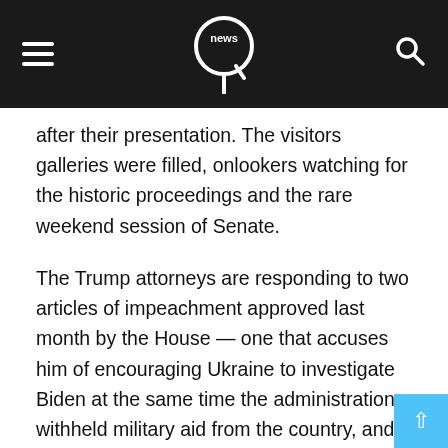[Figure (logo): News website header bar with hamburger menu icon on left, circular Q news logo in center, and search icon on right, all on dark background]
after their presentation. The visitors galleries were filled, onlookers watching for the historic proceedings and the rare weekend session of Senate.
The Trump attorneys are responding to two articles of impeachment approved last month by the House — one that accuses him of encouraging Ukraine to investigate Biden at the same time the administration withheld military aid from the country, and the other that accuses him of obstructing Congress by directing aides not to testify or produce documents.
Trump's defense team took center stage following three days of methodical and passionate arguments from Democrats, who wrapped up Friday by warning that Trump will persist in